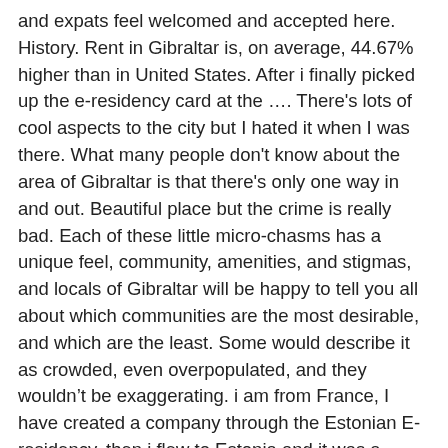and expats feel welcomed and accepted here. History. Rent in Gibraltar is, on average, 44.67% higher than in United States. After i finally picked up the e-residency card at the …. There's lots of cool aspects to the city but I hated it when I was there. What many people don't know about the area of Gibraltar is that there's only one way in and out. Beautiful place but the crime is really bad. Each of these little micro-chasms has a unique feel, community, amenities, and stigmas, and locals of Gibraltar will be happy to tell you all about which communities are the most desirable, and which are the least. Some would describe it as crowded, even overpopulated, and they wouldn't be exaggerating. i am from France, I have created a company through the Estonian E-residency, then i flew to Estonia and it was a disaster. The main road crosses the runway of the city's one airport, and expats who aren't prepared for this reality often find it a bit shocking. Based on Gibraltar's cost of living, here's selected remote jobs that would